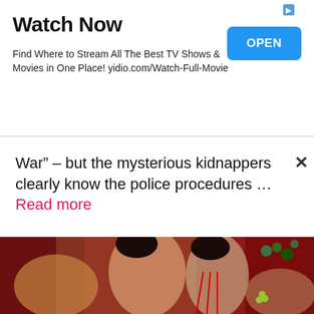Watch Now
Find Where to Stream All The Best TV Shows & Movies in One Place! yidio.com/Watch-Full-Movie
OPEN
War” – but the mysterious kidnappers clearly know the police procedures … Read more
[Figure (photo): Three women in elaborate Chinese-style costumes with headdresses and ornate jewelry against a red background, with peacock feathers visible on the right side.]